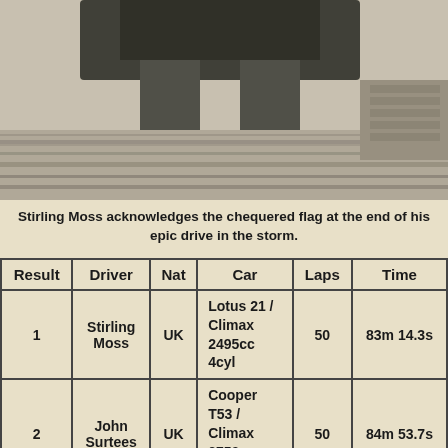[Figure (photo): Black and white photograph showing a racing car (bottom portion visible) with wet/stormy conditions, viewed from front/below angle]
Stirling Moss acknowledges the chequered flag at the end of his epic drive in the storm.
| Result | Driver | Nat | Car | Laps | Time |
| --- | --- | --- | --- | --- | --- |
| 1 | Stirling Moss | UK | Lotus 21 / Climax 2495cc 4cyl | 50 | 83m 14.3s |
| 2 | John Surtees | UK | Cooper T53 / Climax 2750cc 4cyl | 50 | 84m 53.7s |